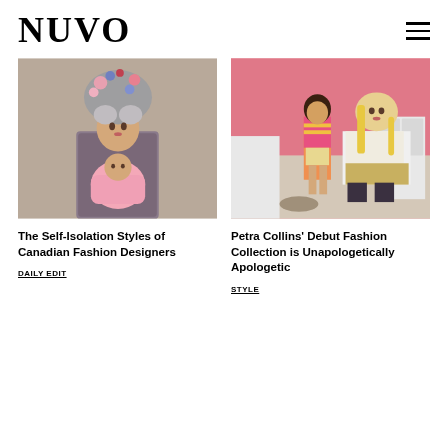NUVO
[Figure (photo): Woman with elaborate floral headpiece holding a baby in pink dress, fashion editorial photo]
The Self-Isolation Styles of Canadian Fashion Designers
DAILY EDIT
[Figure (photo): Two women in a pink bedroom, one standing in colorful striped top and shorts, another kneeling in white top and gold skirt with tights]
Petra Collins' Debut Fashion Collection is Unapologetically Apologetic
STYLE